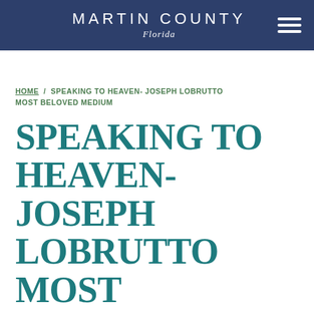MARTIN COUNTY Florida
HOME / SPEAKING TO HEAVEN- JOSEPH LOBRUTTO MOST BELOVED MEDIUM
SPEAKING TO HEAVEN- JOSEPH LOBRUTTO MOST BELOVED MEDIUM
12 JUN
America's Most loved Medium Joseph LoBrutto